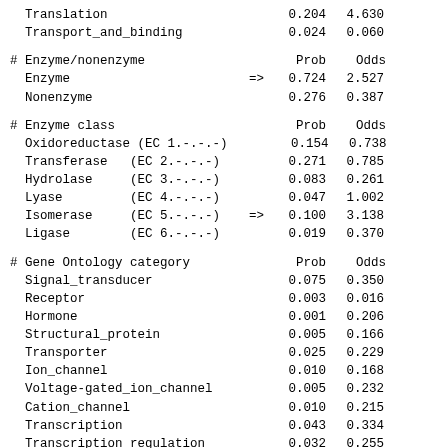| Category | Prob | Odds |
| --- | --- | --- |
| Translation | 0.204 | 4.630 |
| Transport_and_binding | 0.024 | 0.060 |
| # Enzyme/nonenzyme | Prob | Odds |
| --- | --- | --- |
| Enzyme => | 0.724 | 2.527 |
| Nonenzyme | 0.276 | 0.387 |
| # Enzyme class | Prob | Odds |
| --- | --- | --- |
| Oxidoreductase (EC 1.-.-.-) | 0.154 | 0.738 |
| Transferase (EC 2.-.-.-) | 0.271 | 0.785 |
| Hydrolase (EC 3.-.-.-) | 0.083 | 0.261 |
| Lyase (EC 4.-.-.-) | 0.047 | 1.002 |
| Isomerase (EC 5.-.-.-) => | 0.100 | 3.138 |
| Ligase (EC 6.-.-.-) | 0.019 | 0.370 |
| # Gene Ontology category | Prob | Odds |
| --- | --- | --- |
| Signal_transducer | 0.075 | 0.350 |
| Receptor | 0.003 | 0.016 |
| Hormone | 0.001 | 0.206 |
| Structural_protein | 0.005 | 0.166 |
| Transporter | 0.025 | 0.229 |
| Ion_channel | 0.010 | 0.168 |
| Voltage-gated_ion_channel | 0.005 | 0.232 |
| Cation_channel | 0.010 | 0.215 |
| Transcription | 0.043 | 0.334 |
| Transcription_regulation | 0.032 | 0.255 |
| Stress_response | 0.010 | 0.118 |
| Immune_response | 0.012 | 0.140 |
| Growth_factor | 0.006 | 0.407 |
| Metal_ion_transport | 0.009 | 0.020 |